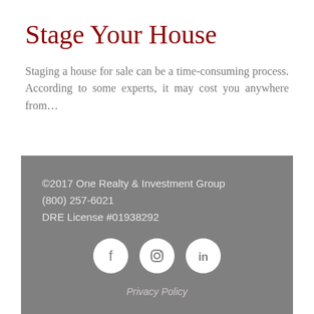Stage Your House
Staging a house for sale can be a time-consuming process. According to some experts, it may cost you anywhere from…
©2017 One Realty & Investment Group
(800) 257-6021
DRE License #01938292
Privacy Policy